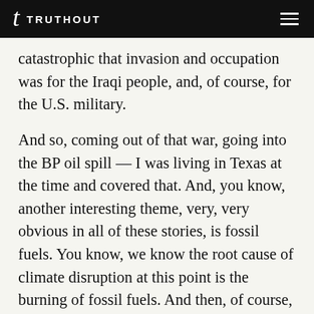TRUTHOUT
catastrophic that invasion and occupation was for the Iraqi people, and, of course, for the U.S. military.
And so, coming out of that war, going into the BP oil spill — I was living in Texas at the time and covered that. And, you know, another interesting theme, very, very obvious in all of these stories, is fossil fuels. You know, we know the root cause of climate disruption at this point is the burning of fossil fuels. And then, of course, Iraq was — it's a no-brainer, that was a